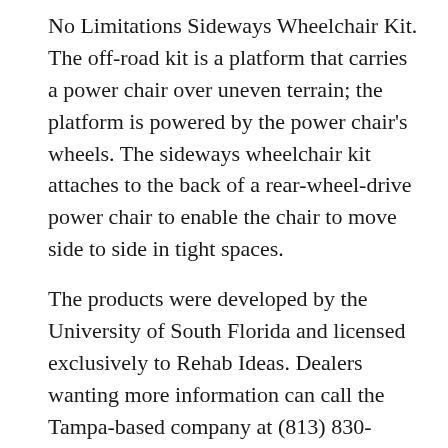No Limitations Sideways Wheelchair Kit. The off-road kit is a platform that carries a power chair over uneven terrain; the platform is powered by the power chair's wheels. The sideways wheelchair kit attaches to the back of a rear-wheel-drive power chair to enable the chair to move side to side in tight spaces.
The products were developed by the University of South Florida and licensed exclusively to Rehab Ideas. Dealers wanting more information can call the Tampa-based company at (813) 830-1875.
Rehab Ideas’ CEO is Stephen Sundarrao, a former NMEDA board member who currently teaches mechanical engineering at the University of South Florida.
Said Roeling of her new venture, “I am just so excited